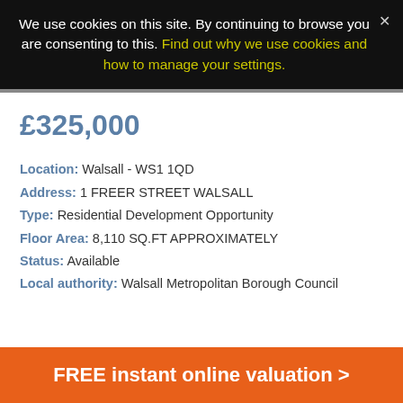We use cookies on this site. By continuing to browse you are consenting to this. Find out why we use cookies and how to manage your settings.
£325,000
Location: Walsall - WS1 1QD
Address: 1 FREER STREET WALSALL
Type: Residential Development Opportunity
Floor Area: 8,110 SQ.FT APPROXIMATELY
Status: Available
Local authority: Walsall Metropolitan Borough Council
FREE instant online valuation >